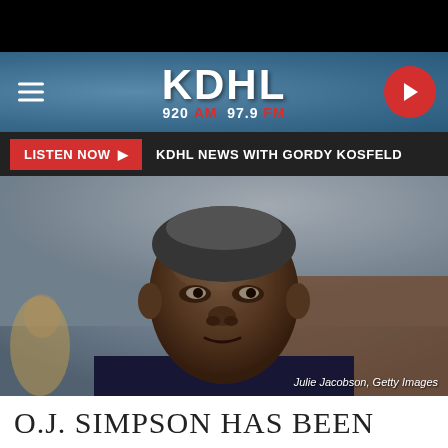KDHL 920 AM 97.9 FM
LISTEN NOW ▶  KDHL NEWS WITH GORDY KOSFELD
[Figure (photo): A man in a dark navy blue shirt seated in what appears to be a courtroom, looking forward with a serious expression. Photo credit: Julie Jacobson, Getty Images]
O.J. SIMPSON HAS BEEN